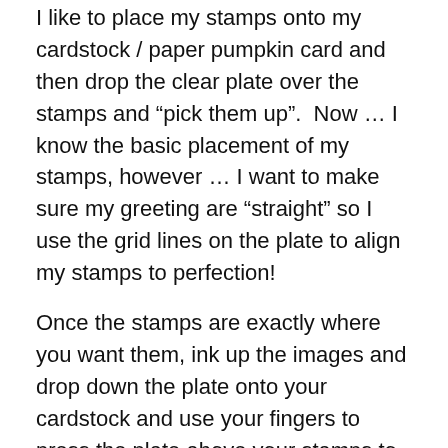I like to place my stamps onto my cardstock / paper pumpkin card and then drop the clear plate over the stamps and “pick them up”.  Now … I know the basic placement of my stamps, however … I want to make sure my greeting are “straight” so I use the grid lines on the plate to align my stamps to perfection!
Once the stamps are exactly where you want them, ink up the images and drop down the plate onto your cardstock and use your fingers to press the plate above your stamps to transfer the ink.  Nice thing is … if you want more coverage (darker ink) then you just re-ink your images and drop the plate again! It will stamp directly onto the same spot. Awesome right!!
Once my stamping is complete, I will but cutting my note card in half and then trimming about 1/4” off the side.